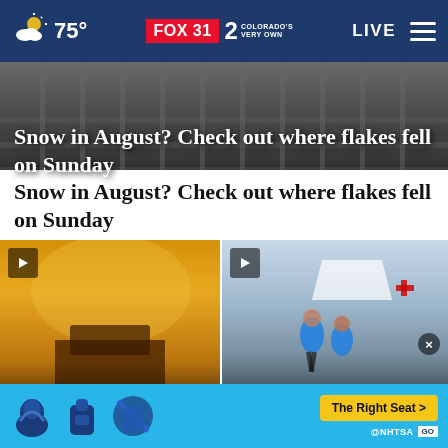75° FOX 31 2 COLORADO'S VERY OWN  LIVE
[Figure (screenshot): Dark outdoor image showing metal fence/grate structure in black and grey tones, top story image]
Snow in August? Check out where flakes fell on Sunday
[Figure (photo): Sunset cityscape photo in golden orange tones showing a building reflected in water, with play button overlay]
Drier week ahead for most of 8...
[Figure (photo): Two young women in blue shirts running in a race event with Red Cross tent in background, play button overlay]
Youth run club raising money
[Figure (infographic): Advertisement banner: NHTSA car seat safety - The Right Seat button, with car seat icons on blue background]